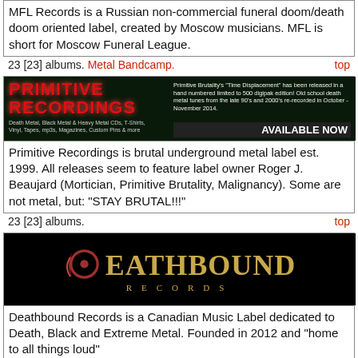MFL Records is a Russian non-commercial funeral doom/death doom oriented label, created by Moscow musicians. MFL is short for Moscow Funeral League.
23 [23] albums. Metal Bandcamp. top
[Figure (other): Primitive Recordings banner ad — dark background with red flame-style logo text, album art, and 'AVAILABLE NOW' text]
Primitive Recordings is brutal underground metal label est. 1999. All releases seem to feature label owner Roger J. Beaujard (Mortician, Primitive Brutality, Malignancy). Some are not metal, but: "STAY BRUTAL!!!"
23 [23] albums. top
[Figure (other): Deathbound Records logo — gold stylized text on black background with decorative swirl, subtitle RECORDS in spaced gold letters]
Deathbound Records is a Canadian Music Label dedicated to Death, Black and Extreme Metal. Founded in 2012 and "home to all things loud"